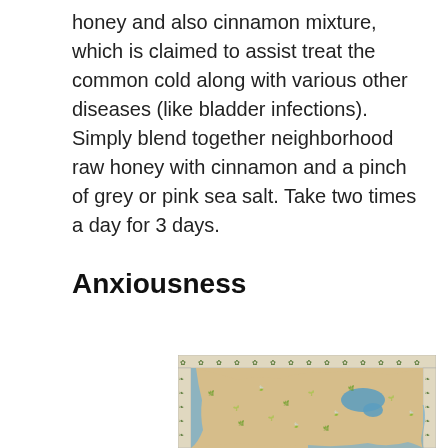honey and also cinnamon mixture, which is claimed to assist treat the common cold along with various other diseases (like bladder infections). Simply blend together neighborhood raw honey with cinnamon and a pinch of grey or pink sea salt. Take two times a day for 3 days.
Anxiousness
[Figure (map): A decorative illustrated map of the United States showing various herbs and plants across different regions, with a border of illustrated plant specimens.]